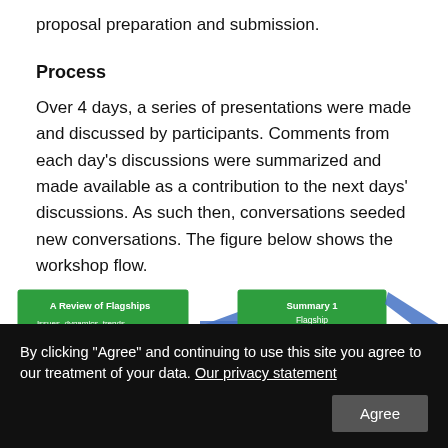proposal preparation and submission.
Process
Over 4 days, a series of presentations were made and discussed by participants. Comments from each day's discussions were summarized and made available as a contribution to the next days' discussions. As such then, conversations seeded new conversations. The figure below shows the workshop flow.
[Figure (flowchart): Workshop flow diagram showing: 'A Review of Flagships' box (with bullet points: Issues, dynamics, trends; Changes influenced; Outputs and outcomes) leading via arrow to 'Summary 1: Flagship Performance in changing context' box. Below, a '5 Questions - Important changes' box leading via arrow to 'Summary 2: Flagship assessment' box. Blue diagonal arrows connect elements. Partial bottom row visible with Environment, Production & productivity bullets.]
By clicking "Agree" and continuing to use this site you agree to our treatment of your data. Our privacy statement